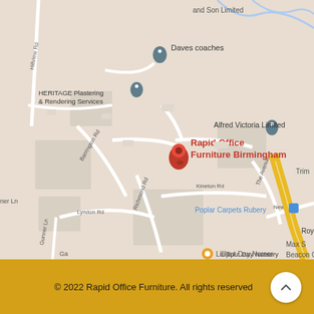[Figure (map): Google Maps screenshot showing location of Rapid Office Furniture Birmingham, with nearby landmarks including Daves coaches, HERITAGE Plastering & Rendering Services, Alfred Victoria Limited, Poplar Carpets Rubery, Royal British Legion, Lilliput Day Nursery. Streets visible: Hillview Rd, Barrington Rd, Lyndon Rd, Richmond Rd, Kineton Rd, The Avenue, New Rd, Gunner Ln. A red location pin marks Rapid Office Furniture Birmingham in the center. Yellow diagonal road (likely A38) visible on right side.]
© 2022 Rapid Office Furniture. All rights reserved